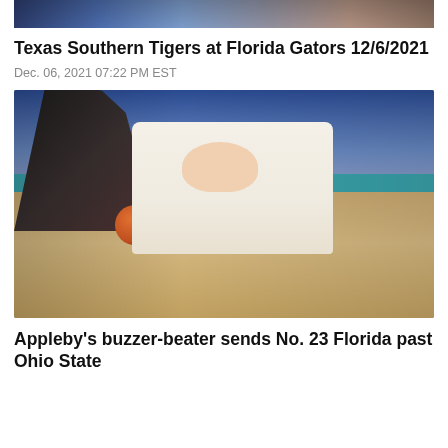[Figure (photo): Top portion of a basketball game photo, cropped — showing partial player legs and background arena]
Texas Southern Tigers at Florida Gators 12/6/2021
Dec. 06, 2021 07:22 PM EST
[Figure (photo): Basketball player in Ohio State white uniform lying on the court floor reaching for a basketball, with other players' legs visible around them. Arena has teal-colored court markings and a blue background with spectators.]
Appleby's buzzer-beater sends No. 23 Florida past Ohio State